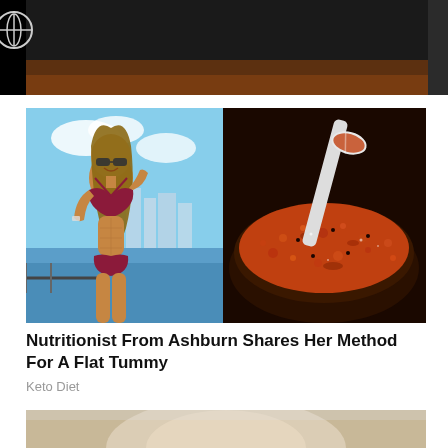[Figure (photo): Black top bar with circular logo/icon on left side]
[Figure (photo): Composite photo: left side shows a fit woman in a red/maroon bikini standing outdoors with blue sky and water; right side shows a bowl of orange-red spice with a spoon]
Nutritionist From Ashburn Shares Her Method For A Flat Tummy
Keto Diet
[Figure (photo): Partial image at bottom of page, cropped]